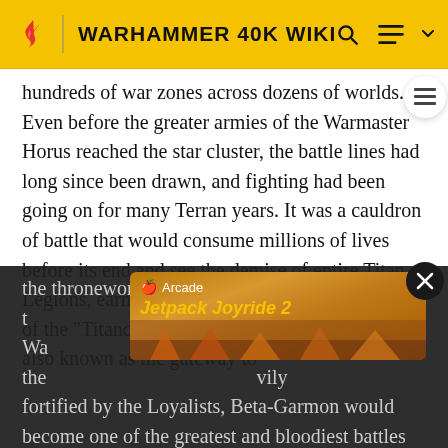WARHAMMER 40K WIKI
hundreds of war zones across dozens of worlds. Even before the greater armies of the Warmaster Horus reached the star cluster, the battle lines had long since been drawn, and fighting had been going on for many Terran years. It was a cauldron of battle that would consume millions of lives before its end and see the demise of entire Titan Legions, earning this campaign the dire moniker of the "Titandeath." The Beta-Garmon Cluster, also known as the gateway to the throneworld of Terra, was the last hurdle that the Warmaster had to overcome before the final ... heavily fortified by the Loyalists, Beta-Garmon would become one of the greatest and bloodiest battles of
[Figure (screenshot): Apple Arcade ad banner showing Jetpack Joyride 2 game with fiery background]